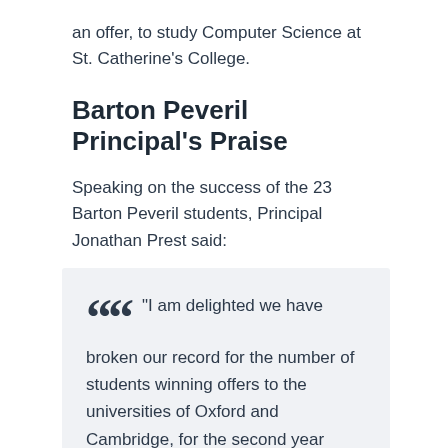an offer, to study Computer Science at St. Catherine's College.
Barton Peveril Principal's Praise
Speaking on the success of the 23 Barton Peveril students, Principal Jonathan Prest said:
“I am delighted we have broken our record for the number of students winning offers to the universities of Oxford and Cambridge, for the second year running!  Very many congratulations to those individuals, and of course to the teachers, mentors, families and friends who have accompanied and supported them on this